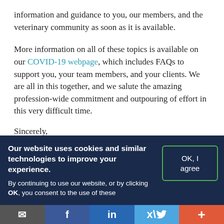information and guidance to you, our members, and the veterinary community as soon as it is available.
More information on all of these topics is available on our COVID-19 webpage, which includes FAQs to support you, your team members, and your clients. We are all in this together, and we salute the amazing profession-wide commitment and outpouring of effort in this very difficult time.
Sincerely,
John Howe, DVM
Our website uses cookies and similar technologies to improve your experience. By continuing to use our website, or by clicking OK, you consent to the use of these